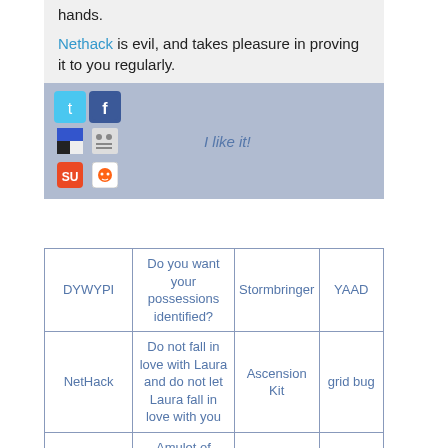hands.
Nethack is evil, and takes pleasure in proving it to you regularly.
[Figure (infographic): Social sharing bar with Twitter, Facebook, Delicious, MySpace, StumbleUpon, Reddit icons and 'I like it!' text]
| DYWYPI | Do you want your possessions identified? | Stormbringer | YAAD |
| --- | --- | --- | --- |
| NetHack | Do not fall in love with Laura and do not let Laura fall in love with you | Ascension Kit | grid bug |
| floating eye | Amulet of Yendor | Lich | YAFM |